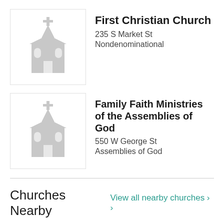[Figure (illustration): Gray church icon for First Christian Church]
First Christian Church
235 S Market St
Nondenominational
[Figure (illustration): Gray church icon for Family Faith Ministries of the Assemblies of God]
Family Faith Ministries of the Assemblies of God
550 W George St
Assemblies of God
Churches Nearby
View all nearby churches ›
[Figure (photo): Photo of congregation for Bridge Baptist Church]
Bridge Baptist Church